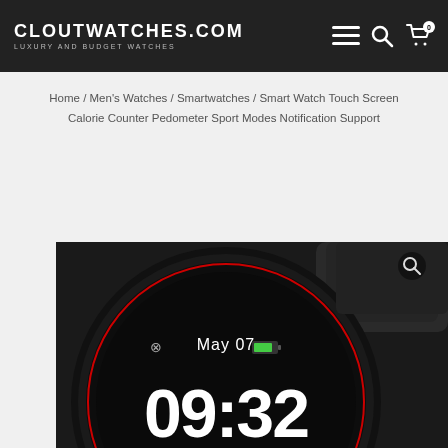CLOUTWATCHES.COM — LUXURY AND BUDGET WATCHES
Home / Men's Watches / Smartwatches / Smart Watch Touch Screen Calorie Counter Pedometer Sport Modes Notification Support
[Figure (photo): Close-up photo of a black smartwatch with round face showing May 07 and time 09:32, with green battery indicator and Bluetooth icon, on a black rubber strap]